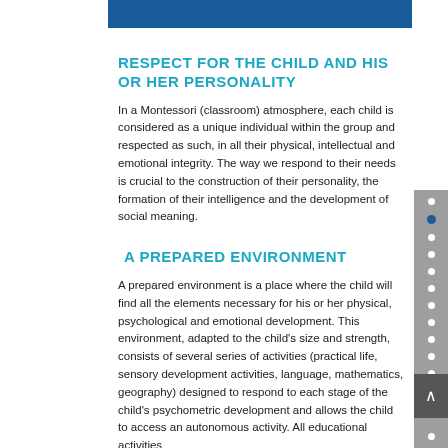RESPECT FOR THE CHILD AND HIS OR HER PERSONALITY
In a Montessori (classroom) atmosphere, each child is considered as a unique individual within the group and respected as such, in all their physical, intellectual and emotional integrity. The way we respond to their needs is crucial to the construction of their personality, the formation of their intelligence and the development of social meaning.
A PREPARED ENVIRONMENT
A prepared environment is a place where the child will find all the elements necessary for his or her physical, psychological and emotional development. This environment, adapted to the child's size and strength, consists of several series of activities (practical life, sensory development activities, language, mathematics, geography) designed to respond to each stage of the child's psychometric development and allows the child to access an autonomous activity. All educational activities